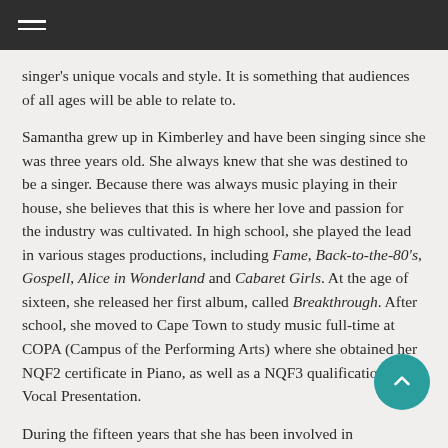singer's unique vocals and style. It is something that audiences of all ages will be able to relate to.
Samantha grew up in Kimberley and have been singing since she was three years old. She always knew that she was destined to be a singer. Because there was always music playing in their house, she believes that this is where her love and passion for the industry was cultivated. In high school, she played the lead in various stages productions, including Fame, Back-to-the-80's, Gospell, Alice in Wonderland and Cabaret Girls. At the age of sixteen, she released her first album, called Breakthrough. After school, she moved to Cape Town to study music full-time at COPA (Campus of the Performing Arts) where she obtained her NQF2 certificate in Piano, as well as a NQF3 qualification in Vocal Presentation.
During the fifteen years that she has been involved in